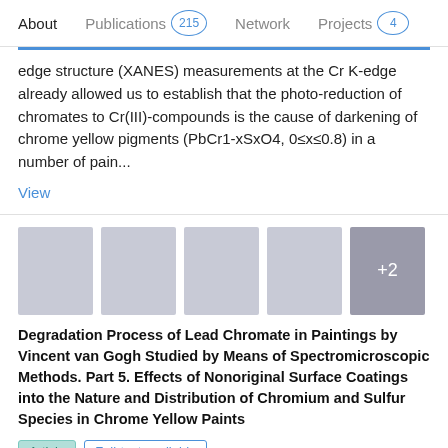About   Publications 215   Network   Projects 4
edge structure (XANES) measurements at the Cr K-edge already allowed us to establish that the photo-reduction of chromates to Cr(III)-compounds is the cause of darkening of chrome yellow pigments (PbCr1-xSxO4, 0≤x≤0.8) in a number of pain...
View
[Figure (photo): Five thumbnail images in a row; the last one (darker grey) shows +2 indicating 2 more images]
Degradation Process of Lead Chromate in Paintings by Vincent van Gogh Studied by Means of Spectromicroscopic Methods. Part 5. Effects of Nonoriginal Surface Coatings into the Nature and Distribution of Chromium and Sulfur Species in Chrome Yellow Paints
Article   Full-text available
Oct 2014